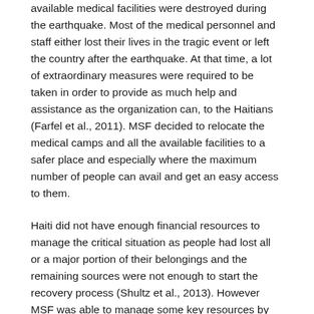available medical facilities were destroyed during the earthquake. Most of the medical personnel and staff either lost their lives in the tragic event or left the country after the earthquake. At that time, a lot of extraordinary measures were required to be taken in order to provide as much help and assistance as the organization can, to the Haitians (Farfel et al., 2011). MSF decided to relocate the medical camps and all the available facilities to a safer place and especially where the maximum number of people can avail and get an easy access to them.
Haiti did not have enough financial resources to manage the critical situation as people had lost all or a major portion of their belongings and the remaining sources were not enough to start the recovery process (Shultz et al., 2013). However MSF was able to manage some key resources by getting financial aid from different states and the response of the supporters and helpers was overwhelming at that time. The earthquake had moved the whole Haitian population and left them in utter shock and threat for their future (Voigt et al., 2011). Haiti is an underdeveloped nation with a high rate of unemployment and a low literacy rate